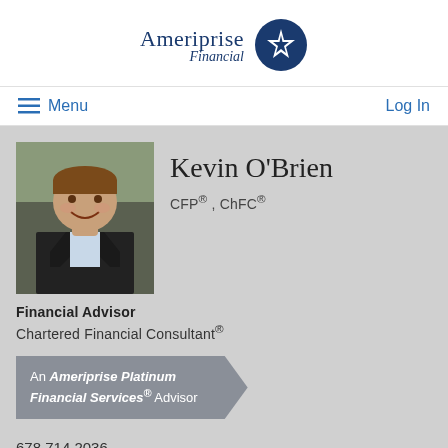[Figure (logo): Ameriprise Financial logo with star emblem and serif text]
Menu   Log In
[Figure (photo): Headshot of Kevin O'Brien, smiling man in dark suit]
Kevin O'Brien
CFP®, ChFC®
Financial Advisor
Chartered Financial Consultant®
An Ameriprise Platinum Financial Services® Advisor
678.714.2036
kevin.r.obrien@ampf.com